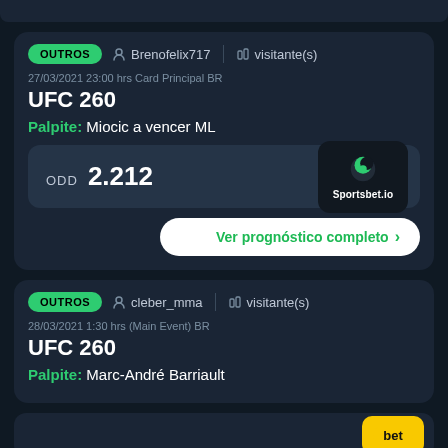OUTROS  Brenofelix717  visitante(s)
27/03/2021 23:00 hrs Card Principal BR
UFC 260
Palpite: Miocic a vencer ML
ODD 2.212
[Figure (logo): Sportsbet.io logo — green crescent circle icon on dark background with text Sportsbet.io]
Ver prognóstico completo >
OUTROS  cleber_mma  visitante(s)
28/03/2021 1:30 hrs (Main Event) BR
UFC 260
Palpite: Marc-André Barriault